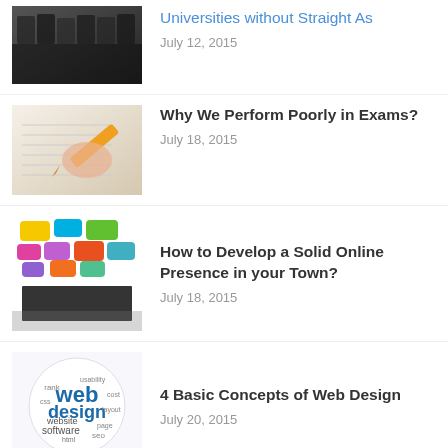[Figure (photo): Graduates in caps and gowns]
Universities without Straight As
July 12, 2015
[Figure (photo): Person filling in exam sheet with pencil]
Why We Perform Poorly in Exams?
July 18, 2015
[Figure (photo): Colorful speech bubbles with silhouettes of people networking]
How to Develop a Solid Online Presence in your Town?
July 18, 2015
[Figure (photo): Web design word cloud in circle with terms like web, design, seo, software]
4 Basic Concepts of Web Design
July 20, 2015
[Figure (photo): Person sitting at computer desk working]
Why You Should Become Web Design and Development Freelancers?